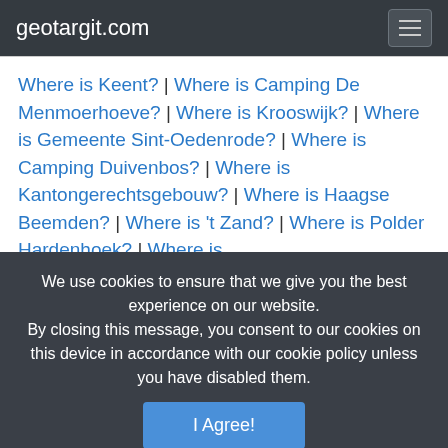geotargit.com
Where is Keent? | Where is Camping De Menmoerhoeve? | Where is Krooswijk? | Where is Gemeente Sint-Oedenrode? | Where is Camping Duivenbos? | Where is Kantongerechtsgebouw? | Where is Haagse Beemden? | Where is 't Zand? | Where is Polder Hardenhoek? | Where is
We use cookies to ensure that we give you the best experience on our website. By closing this message, you consent to our cookies on this device in accordance with our cookie policy unless you have disabled them.
I Agree!